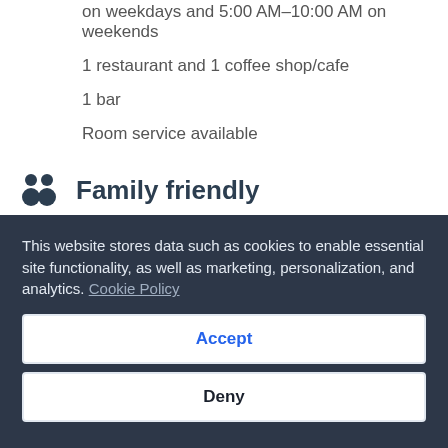on weekdays and 5:00 AM–10:00 AM on weekends
1 restaurant and 1 coffee shop/cafe
1 bar
Room service available
Family friendly
Laundry facilities
Guest services
Daily housekeeping
Laundry facilities
This website stores data such as cookies to enable essential site functionality, as well as marketing, personalization, and analytics. Cookie Policy
Accept
Deny